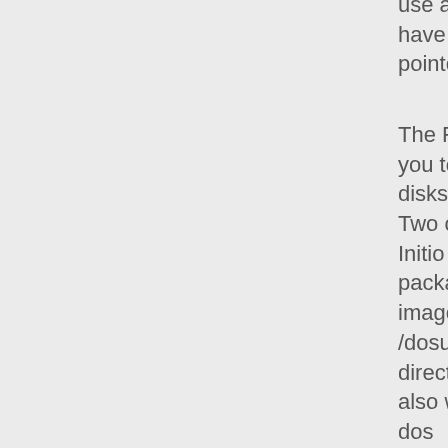use a different partition you will have to adjust the commands and pointers accordingly.
The RedHat installation will require you to write 3 disk images to floppy disks. Two of these images are supplied by Initio (install.img and boot.img) in this package. The third image is the Root image on the RedHat CD in the /dosutils/autoboot directory called initrd.img. You may also want to copy the boot.img to a dos formatted floppy for use later. You can use rawrite, found on the RedHat CD in the /dosutils directory to write these images to floppy.
The process of writing the disk images to disk is very straight forward. Copy all three images to a temp directory. Copy the rawrite.exe file to the same directory. Have three blank floppy disks on hand. Put one floppy in drive A: and execute the rawrite utility with the following command: